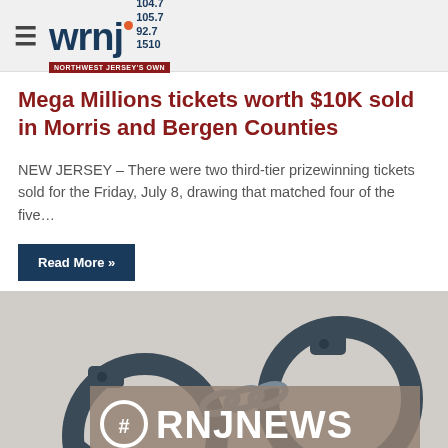WRNJ Radio — Northwest Jersey's Own — 104.7 / 105.7 / 92.7 / 1510
Mega Millions tickets worth $10K sold in Morris and Bergen Counties
NEW JERSEY – There were two third-tier prizewinning tickets sold for the Friday, July 8, drawing that matched four of the five…
Read More »
[Figure (photo): Photo of police handcuffs on white background with a grey overlay banner reading #RNJNEWS]